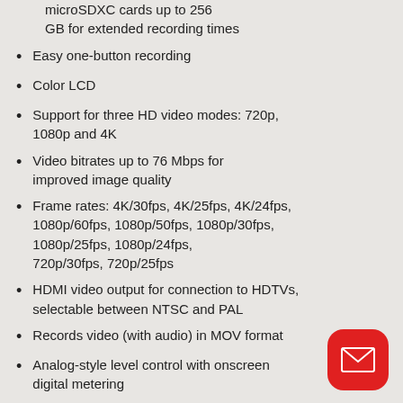microSDXC cards up to 256 GB for extended recording times
Easy one-button recording
Color LCD
Support for three HD video modes: 720p, 1080p and 4K
Video bitrates up to 76 Mbps for improved image quality
Frame rates: 4K/30fps, 4K/25fps, 4K/24fps, 1080p/60fps, 1080p/50fps, 1080p/30fps, 1080p/25fps, 1080p/24fps, 720p/30fps, 720p/25fps
HDMI video output for connection to HDTVs, selectable between NTSC and PAL
Records video (with audio) in MOV format
Analog-style level control with onscreen digital metering